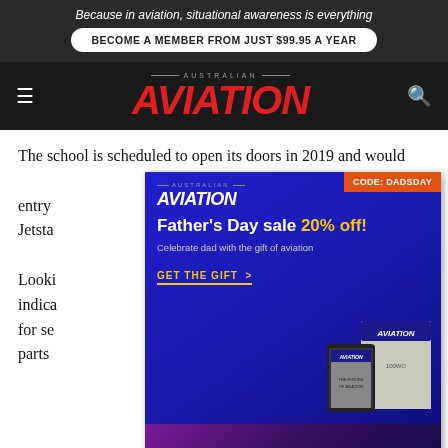Because in aviation, situational awareness is everything
BECOME A MEMBER FROM JUST $99.95 A YEAR
[Figure (logo): Australian Aviation magazine logo with red italic AVIATION text on dark background, hamburger menu and search icon]
The school is scheduled to open its doors in 2019 and would ... direct entry ... g Jetsta...
[Figure (infographic): Promotional ad overlay: Australian Aviation Father's Day sale 20% off with CODE: DADSDAY, featuring magazine images and QinetiQ UAS technologies banner at bottom]